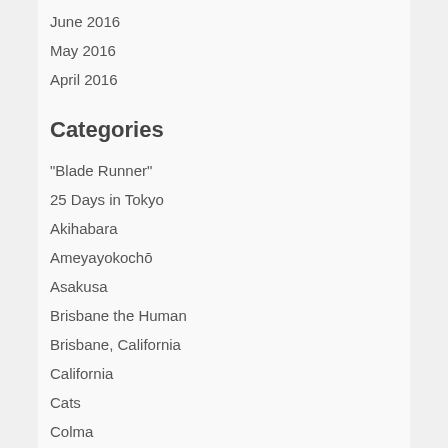June 2016
May 2016
April 2016
Categories
"Blade Runner"
25 Days in Tokyo
Akihabara
Ameyayokochō
Asakusa
Brisbane the Human
Brisbane, California
California
Cats
Colma
Daly City
Devilrobots
Dogs
Dogs & Their People